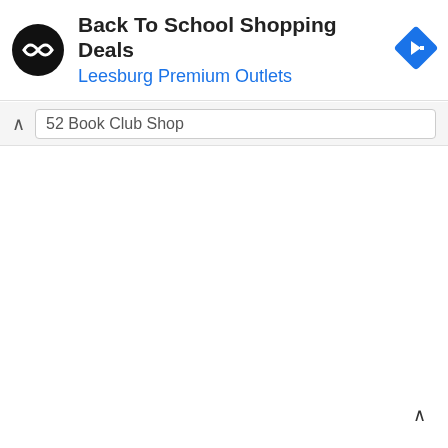[Figure (screenshot): Ad banner with circular black logo with double-arrow symbol, text 'Back To School Shopping Deals' and 'Leesburg Premium Outlets', and a blue diamond navigation icon on the right]
Back To School Shopping Deals
Leesburg Premium Outlets
52 Book Club Shop